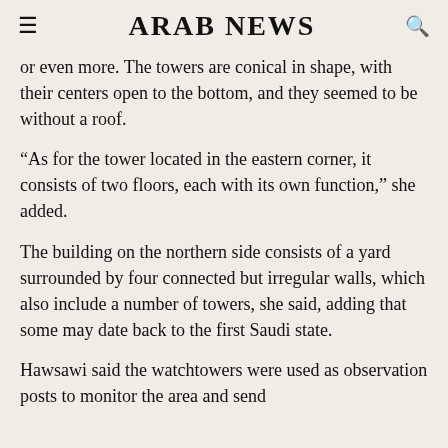ARAB NEWS
or even more. The towers are conical in shape, with their centers open to the bottom, and they seemed to be without a roof.
“As for the tower located in the eastern corner, it consists of two floors, each with its own function,” she added.
The building on the northern side consists of a yard surrounded by four connected but irregular walls, which also include a number of towers, she said, adding that some may date back to the first Saudi state.
Hawsawi said the watchtowers were used as observation posts to monitor the area and send